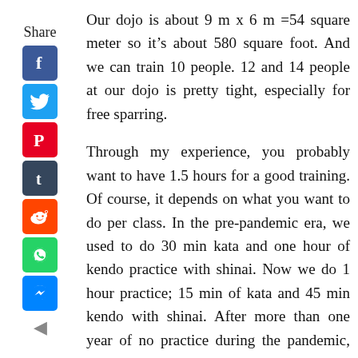[Figure (infographic): Social media share sidebar with Facebook, Twitter, Pinterest, Tumblr, Reddit, WhatsApp, and Messenger icons, plus a back arrow]
Our dojo is about 9 m x 6 m =54 square meter so it’s about 580 square foot. And we can train 10 people. 12 and 14 people at our dojo is pretty tight, especially for free sparring.
Through my experience, you probably want to have 1.5 hours for a good training. Of course, it depends on what you want to do per class. In the pre-pandemic era, we used to do 30 min kata and one hour of kendo practice with shinai. Now we do 1 hour practice; 15 min of kata and 45 min kendo with shinai. After more than one year of no practice during the pandemic, many people get tired quickly. So, everyone focuses on